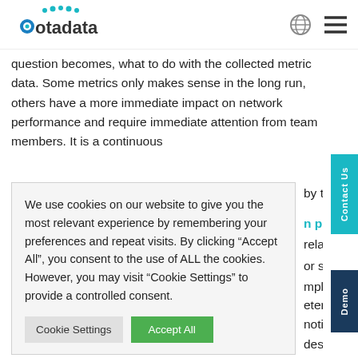motadata [logo with globe and menu icons]
question becomes, what to do with the collected metric data. Some metrics only makes sense in the long run, others have a more immediate impact on network performance and require immediate attention from team members. It is a continuous
by the team.
n place: If relate different or software mplement a
We use cookies on our website to give you the most relevant experience by remembering your preferences and repeat visits. By clicking “Accept All”, you consent to the use of ALL the cookies. However, you may visit “Cookie Settings” to provide a controlled consent.
Cookie Settings   Accept All
etermine ahead notifications descending
order. Incorrect prioritization can create blind-spots